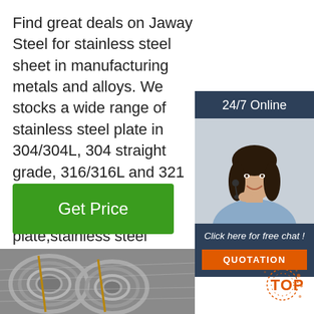Find great deals on Jaway Steel for stainless steel sheet in manufacturing metals and alloys. We stocks a wide range of stainless steel plate in 304/304L, 304 straight grade, 316/316L and 321 plate,such as stainless steel hot rolled plate,stainless steel perforated sheet,sta steel ...
[Figure (other): Green 'Get Price' button]
[Figure (other): 24/7 Online chat widget with female agent photo, 'Click here for free chat!' text, and orange QUOTATION button]
[Figure (photo): Large coils of stainless steel wire rod or steel wire in rolls, grey metallic finish]